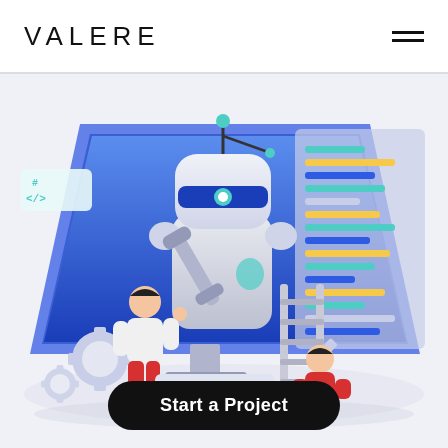[Figure (logo): VALERE company logo in uppercase spaced letters]
[Figure (illustration): Isometric illustration of a robot/AI with a wrench emerging from a computer monitor screen, two people working around it, code symbols, gears, a ladder, and a colorful data/code panel on the right side. Background is light grey/lavender.]
Start a Project